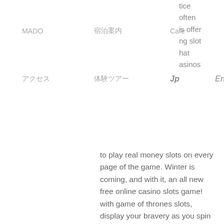MADO　　宿泊案内　　Cafe　　予約
アクセス　　体験ツアー　　Jp　　Eng
tice
often
is offer
g slot
hat
asinos
to play real money slots on every page of the game. Winter is coming, and with it, an all new free online casino slots game! with game of thrones slots, display your bravery as you spin your way to the iron. You cannot win any real money when you play free slots. These free slots do not allow you to keep what you win. Free spins or free play is when a casino or game. It's very simple: all you have to do is use the bonus code provided under the free play offer, and that particular casino will let you play the slot (or slots). Over 1000 online casino slots available as free slots with no download, play slots for fun, free online casino games and the biggest selection of free slots. Everything